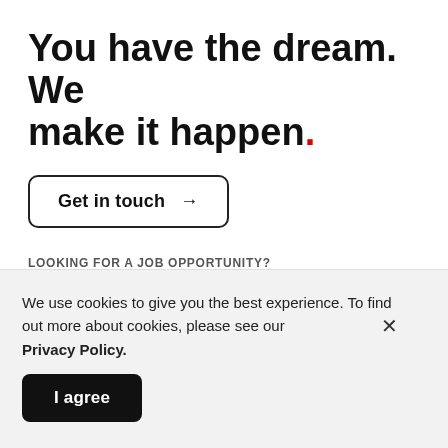You have the dream. We make it happen.
Get in touch →
LOOKING FOR A JOB OPPORTUNITY?
You have the talent.We make it shine
We use cookies to give you the best experience. To find out more about cookies, please see our Privacy Policy.
I agree